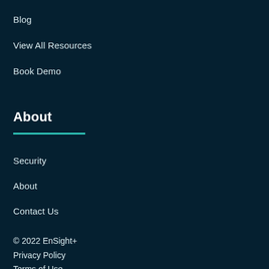Blog
View All Resources
Book Demo
About
Security
About
Contact Us
© 2022 EnSight+
Privacy Policy
Terms of Use